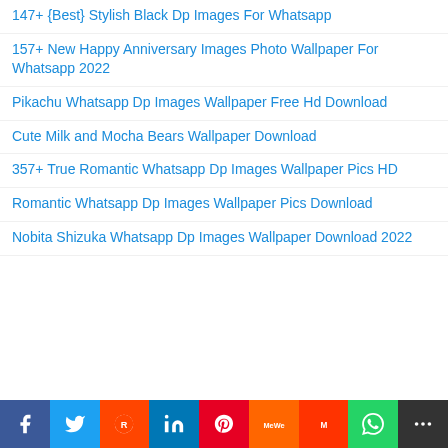147+ {Best} Stylish Black Dp Images For Whatsapp
157+ New Happy Anniversary Images Photo Wallpaper For Whatsapp 2022
Pikachu Whatsapp Dp Images Wallpaper Free Hd Download
Cute Milk and Mocha Bears Wallpaper Download
357+ True Romantic Whatsapp Dp Images Wallpaper Pics HD
Romantic Whatsapp Dp Images Wallpaper Pics Download
Nobita Shizuka Whatsapp Dp Images Wallpaper Download 2022
[Figure (infographic): Social sharing bar with icons: Facebook, Twitter, Reddit, LinkedIn, Pinterest, MeWe, Mix, WhatsApp, More]